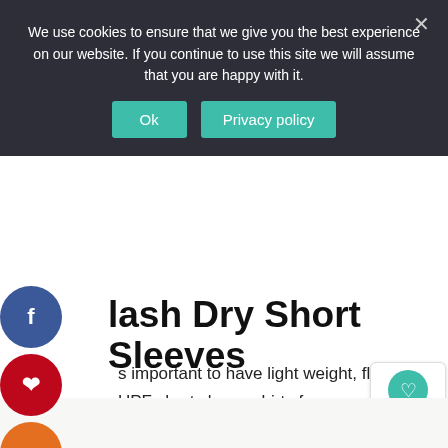We use cookies to ensure that we give you the best experience on our website. If you continue to use this site we will assume that you are happy with it.
Ok  Privacy policy
Flash Dry Short Sleeves
s important to have light weight, flash dry UPF short sleeve shirts for your safari re. We recommend packing at least four ort sleeve shirts.
856
WHAT'S NEXT → 20 Photos of Our Favorite...